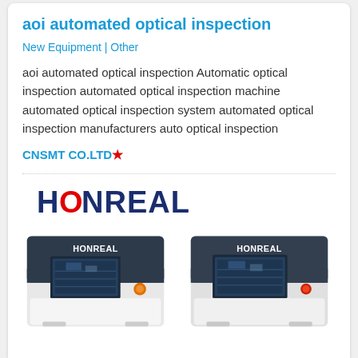aoi automated optical inspection
New Equipment | Other
aoi automated optical inspection Automatic optical inspection automated optical inspection machine automated optical inspection system automated optical inspection manufacturers auto optical inspection
CNSMT CO.LTD*
[Figure (logo): HONREAL company logo in dark navy bold text]
[Figure (photo): Two HONREAL AOI automated optical inspection machines side by side, dark housing with monitors showing circuit board inspection]